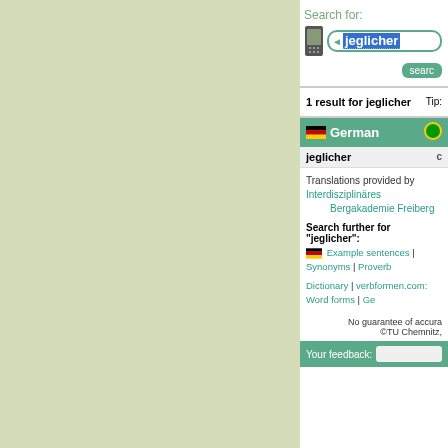Search for: jeglicher
1 result for jeglicher   Tip:
German
jeglicher
Translations provided by Interdisziplinäres Bergakademie Freiberg
Search further for "jeglicher": Example sentences | Synonyms | Proverb... Dictionary | verbformen.com: Word forms | Ge...
No guarantee of accura... ©TU Chemnitz,
Your feedback: